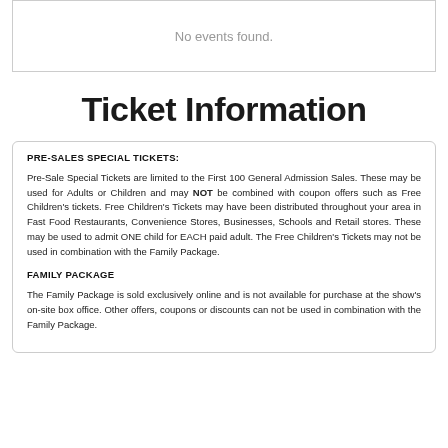No events found.
Ticket Information
PRE-SALES SPECIAL TICKETS:
Pre-Sale Special Tickets are limited to the First 100 General Admission Sales. These may be used for Adults or Children and may NOT be combined with coupon offers such as Free Children’s tickets. Free Children’s Tickets may have been distributed throughout your area in Fast Food Restaurants, Convenience Stores, Businesses, Schools and Retail stores. These may be used to admit ONE child for EACH paid adult. The Free Children’s Tickets may not be used in combination with the Family Package.
FAMILY PACKAGE
The Family Package is sold exclusively online and is not available for purchase at the show’s on-site box office. Other offers, coupons or discounts can not be used in combination with the Family Package.